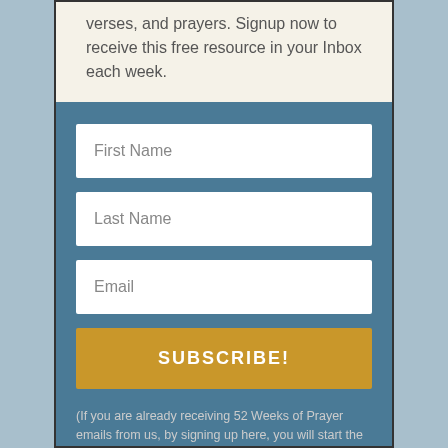verses, and prayers. Signup now to receive this free resource in your Inbox each week.
[Figure (other): Web signup form with First Name, Last Name, Email fields and a SUBSCRIBE! button]
(If you are already receiving 52 Weeks of Prayer emails from us, by signing up here, you will start the series from week one. You can unsubscribe from either email.)